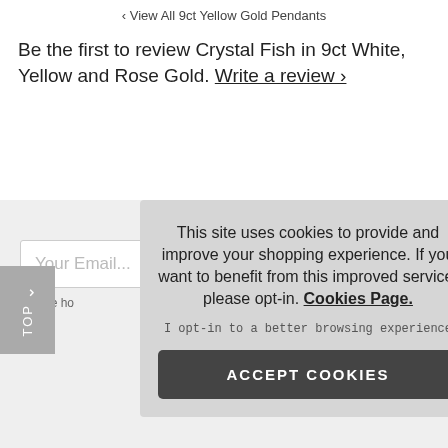‹ View All 9ct Yellow Gold Pendants
Be the first to review Crystal Fish in 9ct White, Yellow and Rose Gold. Write a review ›
NEWSLETTER SIGNUP
Your Email...
To see ho
This site uses cookies to provide and improve your shopping experience. If you want to benefit from this improved service, please opt-in. Cookies Page.
I opt-in to a better browsing experience
ACCEPT COOKIES